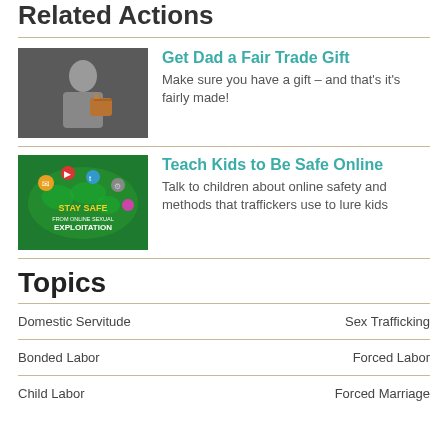Related Actions
[Figure (photo): Person holding a brown leather bag, dark background]
Get Dad a Fair Trade Gift
Make sure you have a gift – and that's it's fairly made!
[Figure (photo): Green graphic with world map and social media icons, text: STAY SAFE FROM ONLINE SEXUAL EXPLOITATION]
Teach Kids to Be Safe Online
Talk to children about online safety and methods that traffickers use to lure kids
Topics
Domestic Servitude
Sex Trafficking
Bonded Labor
Forced Labor
Child Labor
Forced Marriage